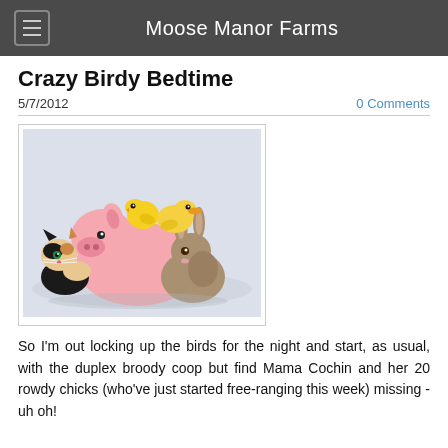Moose Manor Farms
Crazy Birdy Bedtime
5/7/2012
0 Comments
[Figure (photo): A piglet lying down with a calico kitten on left, a rabbit on right, and two yellow baby chicks (one a duckling) sitting on top of the pig, on a light background.]
So I'm out locking up the birds for the night and start, as usual, with the duplex broody coop but find Mama Cochin and her 20 rowdy chicks (who've just started free-ranging this week) missing - uh oh!